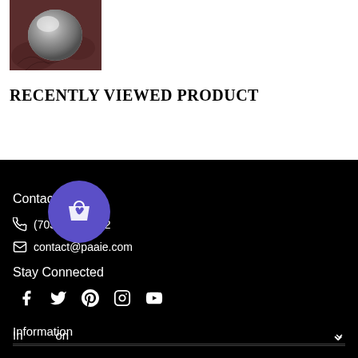[Figure (photo): Product photo showing a metallic/silver round object on a dark red/maroon textured fabric background]
RECENTLY VIEWED PRODUCT
Contact Paaie
(703)-992-5692
contact@paaie.com
Stay Connected
[Figure (infographic): Social media icons: Facebook, Twitter/X, Pinterest, Instagram, YouTube]
Information
[Figure (infographic): Purple circular cart/bag button with heart icon overlay]